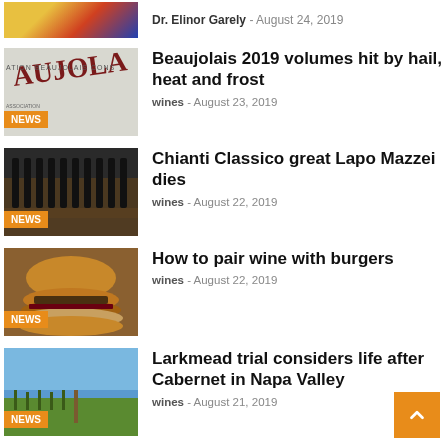Dr. Elinor Garely - August 24, 2019
[Figure (photo): Partial article thumbnail at top, colorful abstract image]
[Figure (photo): Beaujolais label close-up photo with NEWS badge]
Beaujolais 2019 volumes hit by hail, heat and frost
wines - August 23, 2019
[Figure (photo): Wine bottles in a row at Chianti Classico event with NEWS badge]
Chianti Classico great Lapo Mazzei dies
wines - August 22, 2019
[Figure (photo): Close-up of a burger with NEWS badge]
How to pair wine with burgers
wines - August 22, 2019
[Figure (photo): Larkmead vineyard sign with blue sky and vines with NEWS badge]
Larkmead trial considers life after Cabernet in Napa Valley
wines - August 21, 2019